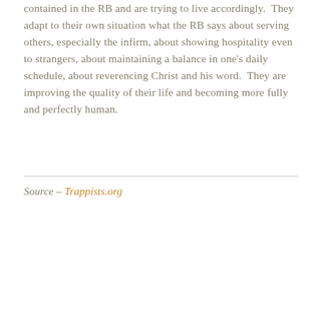contained in the RB and are trying to live accordingly.  They adapt to their own situation what the RB says about serving others, especially the infirm, about showing hospitality even to strangers, about maintaining a balance in one's daily schedule, about reverencing Christ and his word.  They are improving the quality of their life and becoming more fully and perfectly human.
Source – Trappists.org